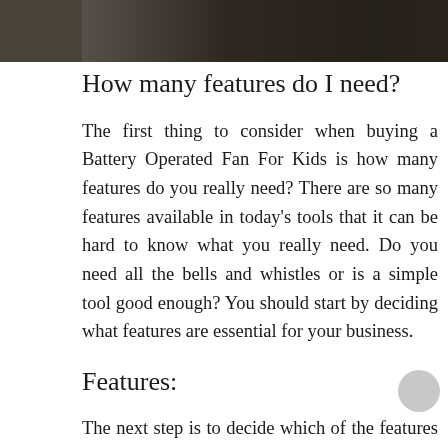[Figure (photo): Dark photo strip at top of page showing a partial image]
How many features do I need?
The first thing to consider when buying a Battery Operated Fan For Kids is how many features do you really need? There are so many features available in today's tools that it can be hard to know what you really need. Do you need all the bells and whistles or is a simple tool good enough? You should start by deciding what features are essential for your business.
Features:
The next step is to decide which of the features that you need are really important to you. Will those extra features make your life easier or will